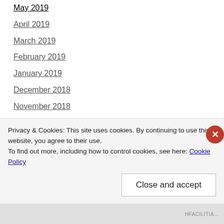May 2019
April 2019
March 2019
February 2019
January 2019
December 2018
November 2018
October 2018
September 2018
August 2018
July 2018
June 2018
Privacy & Cookies: This site uses cookies. By continuing to use this website, you agree to their use.
To find out more, including how to control cookies, see here: Cookie Policy